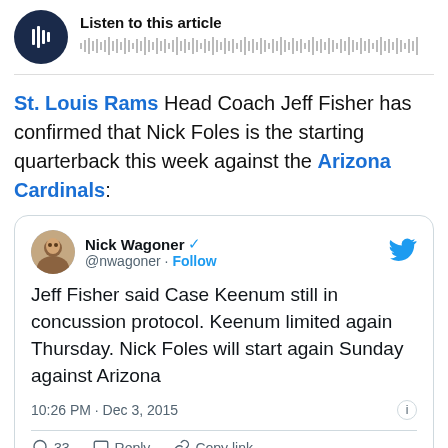[Figure (screenshot): Audio player widget with dark circular play button and waveform visualization. Label reads 'Listen to this article'.]
St. Louis Rams Head Coach Jeff Fisher has confirmed that Nick Foles is the starting quarterback this week against the Arizona Cardinals:
[Figure (screenshot): Embedded tweet from Nick Wagoner (@nwagoner) with blue verified checkmark and Follow button. Tweet text: 'Jeff Fisher said Case Keenum still in concussion protocol. Keenum limited again Thursday. Nick Foles will start again Sunday against Arizona'. Timestamp: 10:26 PM · Dec 3, 2015. Footer: 33 likes, Reply, Copy link.]